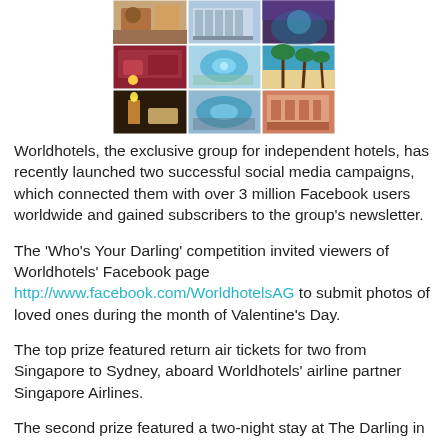[Figure (photo): A collage of hotel photos showing luxury interiors, swimming pools, palm trees, and architectural exteriors]
Worldhotels, the exclusive group for independent hotels, has recently launched two successful social media campaigns, which connected them with over 3 million Facebook users worldwide and gained subscribers to the group's newsletter.
The 'Who's Your Darling' competition invited viewers of Worldhotels' Facebook page http://www.facebook.com/WorldhotelsAG to submit photos of loved ones during the month of Valentine's Day.
The top prize featured return air tickets for two from Singapore to Sydney, aboard Worldhotels' airline partner Singapore Airlines.
The second prize featured a two-night stay at The Darling in